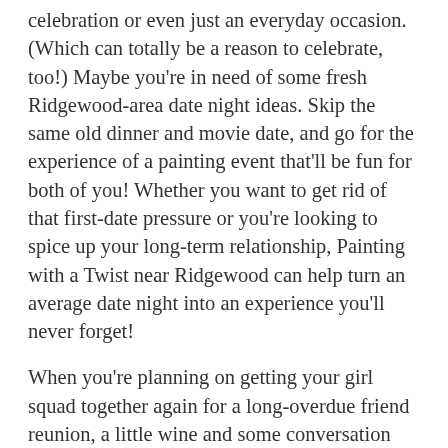celebration or even just an everyday occasion. (Which can totally be a reason to celebrate, too!) Maybe you're in need of some fresh Ridgewood-area date night ideas. Skip the same old dinner and movie date, and go for the experience of a painting event that'll be fun for both of you! Whether you want to get rid of that first-date pressure or you're looking to spice up your long-term relationship, Painting with a Twist near Ridgewood can help turn an average date night into an experience you'll never forget!
When you're planning on getting your girl squad together again for a long-overdue friend reunion, a little wine and some conversation can set the vibe for a much-needed evening of fun! Throw in a sip and paint event at Ridgewood-area Painting with a Twist, and get ready to paint, laugh, and make some memories that you'll all remember for years.
Are you in desperate need of a break? Reserve your spot at a zen painting event at Ridgewood-area Painting with a Twist for a relaxing escape! Get away from the everyday